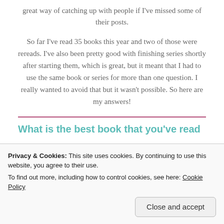great way of catching up with people if I've missed some of their posts.
So far I've read 35 books this year and two of those were rereads. I've also been pretty good with finishing series shortly after starting them, which is great, but it meant that I had to use the same book or series for more than one question. I really wanted to avoid that but it wasn't possible. So here are my answers!
What is the best book that you've read
Privacy & Cookies: This site uses cookies. By continuing to use this website, you agree to their use. To find out more, including how to control cookies, see here: Cookie Policy
Close and accept